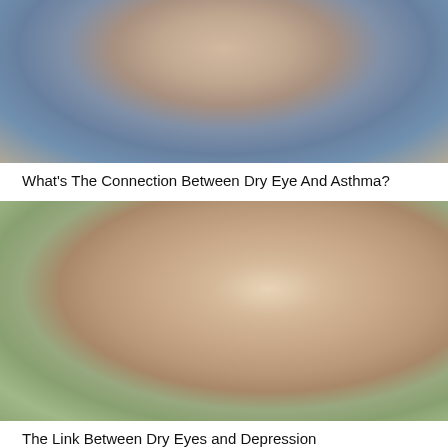[Figure (photo): Woman in a blue long-sleeve shirt covering her mouth/nose with her elbow, standing in a kitchen, suggesting sneezing or coughing]
What's The Connection Between Dry Eye And Asthma?
[Figure (photo): Close-up of a woman with dark hair pulled back, looking downward thoughtfully, resting her chin on her hand, with an outdoor scenic background]
The Link Between Dry Eyes and Depression